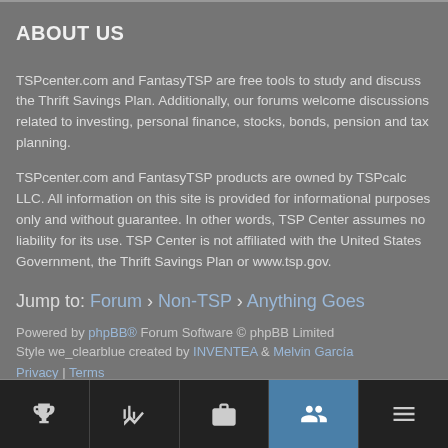ABOUT US
TSPcenter.com and FantasyTSP are free tools to study and discuss the Thrift Savings Plan. Additionally, our forums welcome discussions related to investing, personal finance, stocks, bonds, pension and tax planning.
TSPcenter.com and FantasyTSP products are owned by TSPcalc LLC. All information on this site is provided for informational purposes only and without guarantee. In other words, TSP Center assumes no liability for its use. TSP Center is not affiliated with the United States Government, the Thrift Savings Plan or www.tsp.gov.
Jump to: Forum › Non-TSP › Anything Goes
Powered by phpBB® Forum Software © phpBB Limited
Style we_clearblue created by INVENTEA & Melvin García
Privacy | Terms